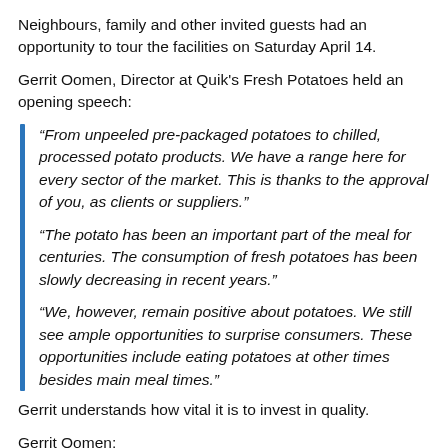Neighbours, family and other invited guests had an opportunity to tour the facilities on Saturday April 14.
Gerrit Oomen, Director at Quik's Fresh Potatoes held an opening speech:
“From unpeeled pre-packaged potatoes to chilled, processed potato products. We have a range here for every sector of the market. This is thanks to the approval of you, as clients or suppliers.”
“The potato has been an important part of the meal for centuries. The consumption of fresh potatoes has been slowly decreasing in recent years.”
“We, however, remain positive about potatoes. We still see ample opportunities to surprise consumers. These opportunities include eating potatoes at other times besides main meal times.”
Gerrit understands how vital it is to invest in quality.
Gerrit Oomen:
“We have to deal with extreme weather influences. The rising temperatures are also threatening the storage life of potatoes